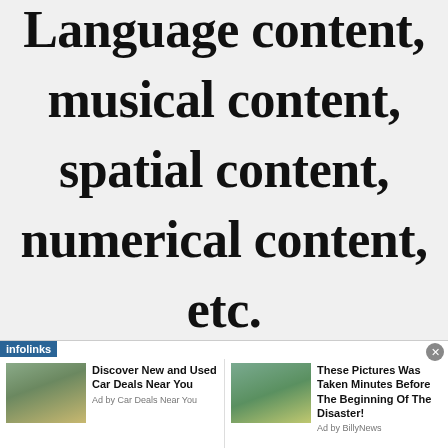Language content, musical content, spatial content, numerical content, etc.
[Figure (other): Infolinks advertisement bar with two ad units: (1) image of SUV with text 'Discover New and Used Car Deals Near You, Ad by Car Deals Near You'; (2) image of car on flooded road with text 'These Pictures Was Taken Minutes Before The Beginning Of The Disaster!, Ad by BillyNews'. Has close button and infolinks branding label.]